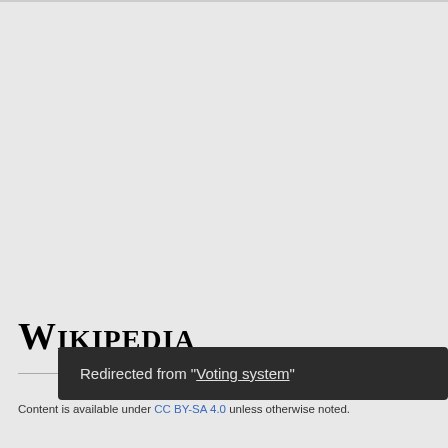[Figure (logo): Wikipedia logo text in serif font]
Content is available under CC BY-SA 4.0 unless otherwise noted.
Redirected from "Voting system"